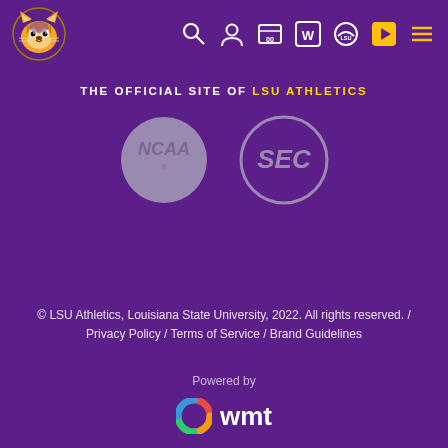[Figure (logo): LSU Tigers mascot logo - tiger head in purple, gold and white, top left corner]
[Figure (illustration): Navigation icons row: search magnifying glass, user profile, scoreboard, letter W, LSU cap, play button, hamburger menu - all in white/gold on purple]
THE OFFICIAL SITE OF LSU ATHLETICS
[Figure (logo): NCAA circular logo in muted lavender/light purple]
[Figure (logo): SEC circular logo in muted lavender/light purple]
© LSU Athletics, Louisiana State University, 2022. All rights reserved. / Privacy Policy / Terms of Service / Brand Guidelines
Powered by
[Figure (logo): WMT logo: colorful swirl icon followed by bold white 'wmt' text]